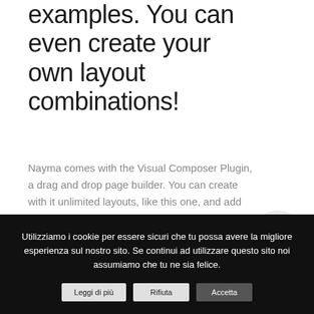examples. You can even create your own layout combinations!
Nayma comes with the Visual Composer Plugin, a drag and drop page builder. You can create with it unlimited layouts, like this one, and add over 40 content elements. Be creative and take your content to the next level!
[Figure (illustration): A light gray circle with a right-arrow icon inside, positioned to the right of the body text.]
Utilizziamo i cookie per essere sicuri che tu possa avere la migliore esperienza sul nostro sito. Se continui ad utilizzare questo sito noi assumiamo che tu ne sia felice.